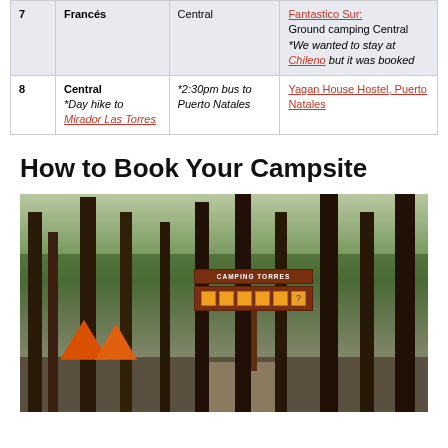| Day | Location | Route/Transport | Accommodation |
| --- | --- | --- | --- |
| 7 | Francés | Central | Fantastico Sur: Ground camping Central *We wanted to stay at Chileno but it was booked |
| 8 | Central *Day hike to Mirador Las Torres | *2:30pm bus to Puerto Natales | Yagan House Hostel, Puerto Natales |
How to Book Your Campsite
[Figure (photo): Forest campsite scene with tall bare trees, orange tents visible on the left, a trail sign post in the center-right with brown signs including text and icons, and a dirt path]